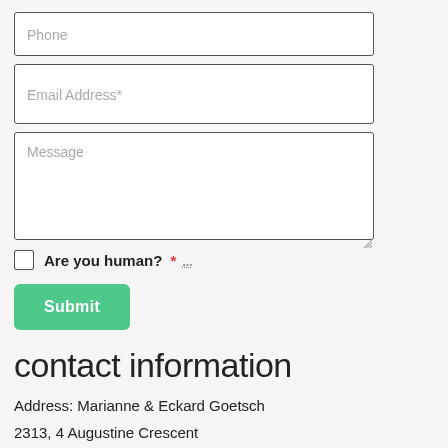Phone
Email Address*
Message
Are you human? *
Submit
contact information
Address: Marianne & Eckard Goetsch
2313, 4 Augustine Crescent
Sherwood Park, AB.
T8H 0X8